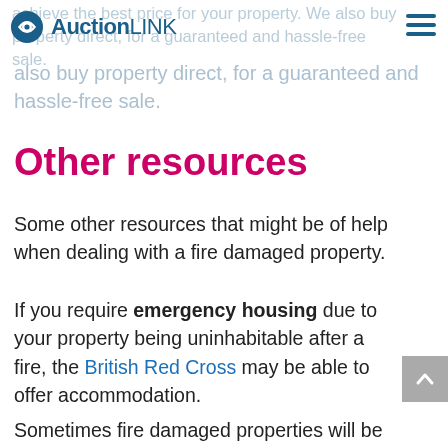AuctionLINK — achieve the best price for your property. We also buy property direct, for a guaranteed and hassle-free sale.
also buy property direct, for a guaranteed and hassle-free sale.
Other resources
Some other resources that might be of help when dealing with a fire damaged property.
If you require emergency housing due to your property being uninhabitable after a fire, the British Red Cross may be able to offer accommodation.
Sometimes fire damaged properties will be exempt from council tax, so it's worth